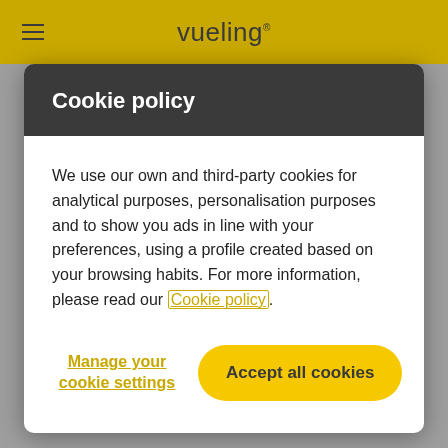vueling
Cookie policy
We use our own and third-party cookies for analytical purposes, personalisation purposes and to show you ads in line with your preferences, using a profile created based on your browsing habits. For more information, please read our Cookie policy.
Manage your cookie settings
Accept all cookies
INSPIRATION   Published on 24 February, 2022